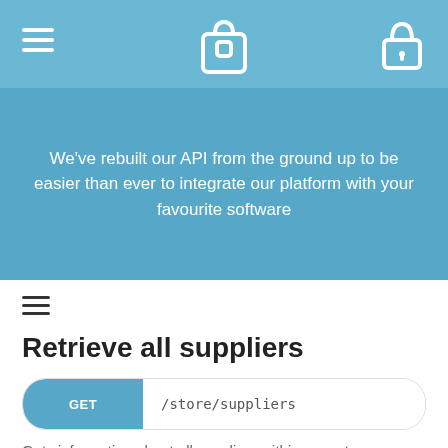[Figure (screenshot): Navigation header bar with hamburger menu icon on left, shopping bag logo icon in center, and lock icon on right, on a light blue background]
We've rebuilt our API from the ground up to be easier than ever to integrate our platform with your favourite software
[Figure (other): Hamburger menu icon (three horizontal lines) for sidebar navigation]
Retrieve all suppliers
GET /store/suppliers
Gets information about all suppliers within your store